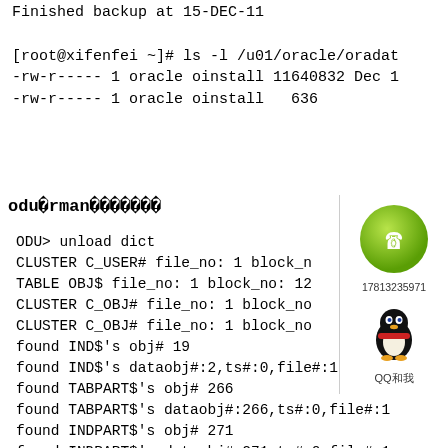Finished backup at 15-DEC-11
[root@xifenfei ~]# ls -l /u01/oracle/oradat
-rw-r----- 1 oracle oinstall 11640832 Dec 1
-rw-r----- 1 oracle oinstall   636
odu�rman�������
ODU> unload dict
CLUSTER C_USER# file_no: 1 block_n
TABLE OBJ$ file_no: 1 block_no: 12
CLUSTER C_OBJ# file_no: 1 block_no
CLUSTER C_OBJ# file_no: 1 block_no
found IND$'s obj# 19
found IND$'s dataobj#:2,ts#:0,file#:1,block
found TABPART$'s obj# 266
found TABPART$'s dataobj#:266,ts#:0,file#:1
found INDPART$'s obj# 271
found INDPART$'s dataobj#:271,ts#:0,file#:1
found TABSUBPART$'s obj# 278
found TABSUBPART$'s dataobj#:278,ts#:0,file